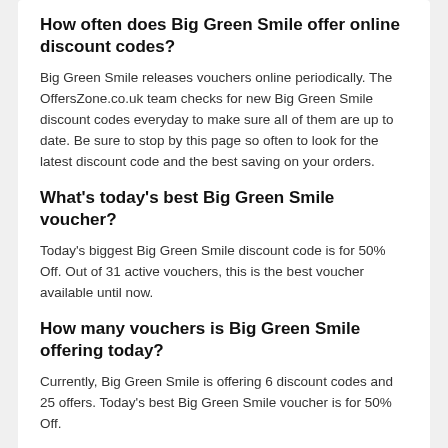How often does Big Green Smile offer online discount codes?
Big Green Smile releases vouchers online periodically. The OffersZone.co.uk team checks for new Big Green Smile discount codes everyday to make sure all of them are up to date. Be sure to stop by this page so often to look for the latest discount code and the best saving on your orders.
What's today's best Big Green Smile voucher?
Today's biggest Big Green Smile discount code is for 50% Off. Out of 31 active vouchers, this is the best voucher available until now.
How many vouchers is Big Green Smile offering today?
Currently, Big Green Smile is offering 6 discount codes and 25 offers. Today's best Big Green Smile voucher is for 50% Off.
Today's Big Green Smile Offers